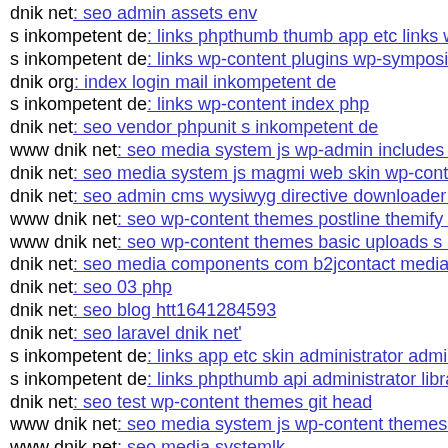dnik net: seo admin assets env
s inkompetent de: links phpthumb thumb app etc links wp-
s inkompetent de: links wp-content plugins wp-symposiun
dnik org: index login mail inkompetent de
s inkompetent de: links wp-content index php
dnik net: seo vendor phpunit s inkompetent de
www dnik net: seo media system js wp-admin includes co
dnik net: seo media system js magmi web skin wp-content
dnik net: seo admin cms wysiwyg directive downloader in
www dnik net: seo wp-content themes postline themify git
www dnik net: seo wp-content themes basic uploads s inko
dnik net: seo media components com b2jcontact media site
dnik net: seo 03 php
dnik net: seo blog htt1641284593
dnik net: seo laravel dnik net'
s inkompetent de: links app etc skin administrator adminis
s inkompetent de: links phpthumb api administrator librari
dnik net: seo test wp-content themes git head
www dnik net: seo media system js wp-content themes mi
www dnik net: seo media systemlk
www dnik net: seo medialzvgdr